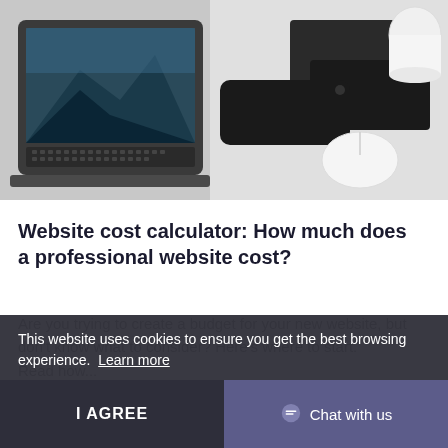[Figure (photo): A MacBook laptop with dark screen showing a mountain wallpaper on the left, and on the right a smartphone, black notebook, and white Apple Magic Mouse on a white desk surface.]
Website cost calculator: How much does a professional website cost?
Are you trying to create a budget for your new website, but don't know what to consider? Here's where to start. Read how...
This website uses cookies to ensure you get the best browsing experience. Learn more
I AGREE
Chat with us